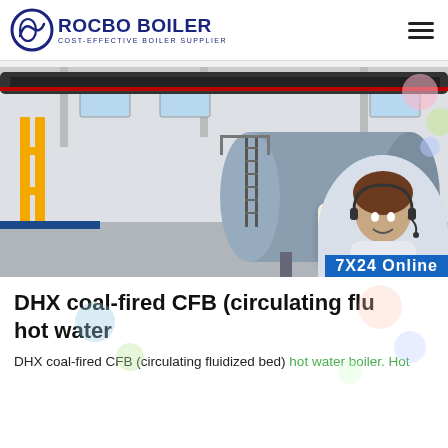ROCBO BOILER — COST-EFFECTIVE BOILER SUPPLIER
[Figure (photo): Industrial boiler in a factory setting with yellow pipes, black exhaust ducts, and a large cylindrical pressure vessel. A 10% DISCOUNT badge overlaid in bottom right.]
DHX coal-fired CFB (circulating flu... hot water
DHX coal-fired CFB (circulating fluidized bed) hot water boiler. Hot ... 7X24 Online